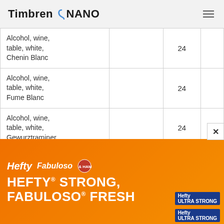Timbren NANO
| Item |  | Value |  |
| --- | --- | --- | --- |
| Alcohol, wine, table, white, Chenin Blanc |  | 24 |  |
| Alcohol, wine, table, white, Fume Blanc |  | 24 |  |
| Alcohol, wine, table, white, Gewurztraminer |  | 24 |  |
| Alcohol, wine, table, white |  | 35 |  |
[Figure (infographic): Hefty and Fabuloso advertisement banner: orange background with text HEFTY STRONG, FABULOSO FRESH and product images]